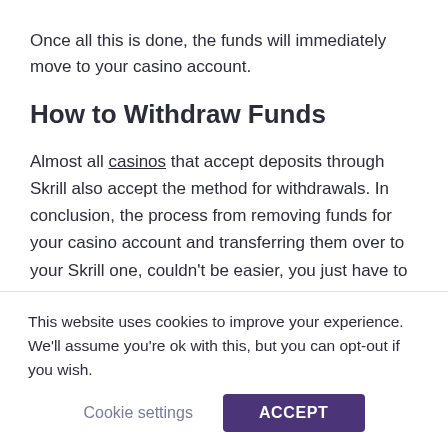Once all this is done, the funds will immediately move to your casino account.
How to Withdraw Funds
Almost all casinos that accept deposits through Skrill also accept the method for withdrawals. In conclusion, the process from removing funds for your casino account and transferring them over to your Skrill one, couldn't be easier, you just have to go through a few quick steps:
Open the banking/cashier tab.
This website uses cookies to improve your experience. We'll assume you're ok with this, but you can opt-out if you wish.
Cookie settings  ACCEPT